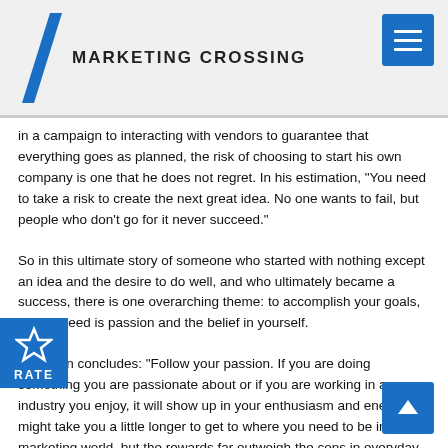MARKETING CROSSING
in a campaign to interacting with vendors to guarantee that everything goes as planned, the risk of choosing to start his own company is one that he does not regret. In his estimation, "You need to take a risk to create the next great idea. No one wants to fail, but people who don't go for it never succeed."
So in this ultimate story of someone who started with nothing except an idea and the desire to do well, and who ultimately became a success, there is one overarching theme: to accomplish your goals, all you need is passion and the belief in yourself.
Tuchman concludes: "Follow your passion. If you are doing something you are passionate about or if you are working in an industry you enjoy, it will show up in your enthusiasm and energy. It might take you a little longer to get to where you need to be in the marketing world, but the rewards far outweigh the cons in everyday life. That is the most important thing — to enjoy what you are doing everyday."
On the net: TSE Sports & Entertainment
www.tseworld.com